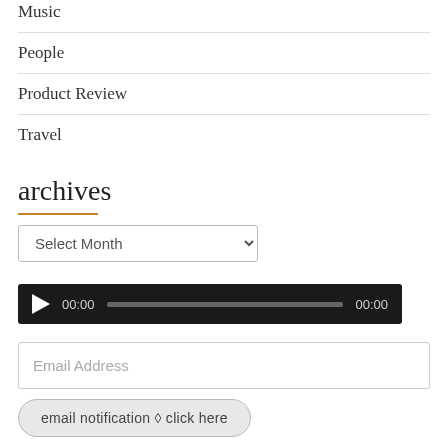Music
People
Product Review
Travel
archives
Select Month
[Figure (other): Audio player bar with play button, time stamps 00:00 and 00:00, and a progress bar on dark background]
Email Address
email notification ◊ click here